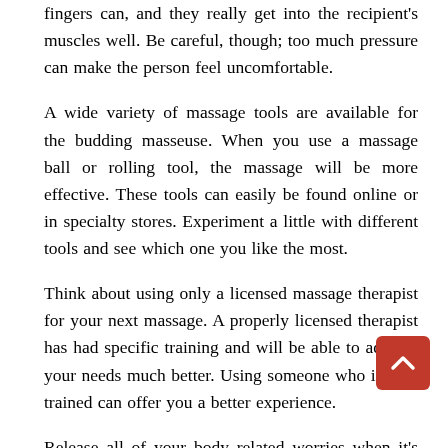fingers can, and they really get into the recipient's muscles well. Be careful, though; too much pressure can make the person feel uncomfortable.
A wide variety of massage tools are available for the budding masseuse. When you use a massage ball or rolling tool, the massage will be more effective. These tools can easily be found online or in specialty stores. Experiment a little with different tools and see which one you like the most.
Think about using only a licensed massage therapist for your next massage. A properly licensed therapist has had specific training and will be able to address your needs much better. Using someone who is well trained can offer you a better experience.
Release all of your body related worries when it's time for the massage. Your massage therapist will find it easier to work on your aching muscles if you aren't wearing clothing. Massages know how to make sure you stay covered using sheet-draping